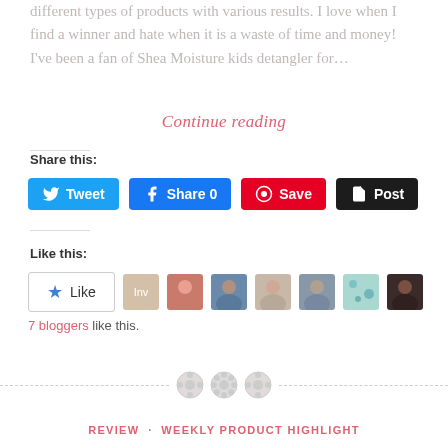different types of products with various results. I love when I find a winner and hate when it is a waste of time and money! I've been a fan of Shea Moisture kids detangler for...
Continue reading
Share this:
[Figure (other): Social share buttons: Tweet (Twitter/blue), Share 0 (Facebook/blue), Save (Pinterest/red), Post (Tumblr/black)]
Like this:
[Figure (other): Like button with star icon and 7 blogger avatar thumbnails]
7 bloggers like this.
[Figure (other): Decorative divider with three button/gear icons]
REVIEW · WEEKLY PRODUCT HIGHLIGHT